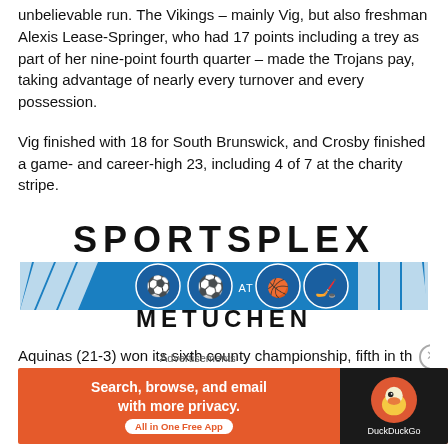unbelievable run. The Vikings – mainly Vig, but also freshman Alexis Lease-Springer, who had 17 points including a trey as part of her nine-point fourth quarter – made the Trojans pay, taking advantage of nearly every turnover and every possession.
Vig finished with 18 for South Brunswick, and Crosby finished a game- and career-high 23, including 4 of 7 at the charity stripe.
[Figure (logo): Sportsplex at Metuchen logo with blue and white diagonal stripes and sports icons]
Aquinas (21-3) won its sixth county championship, fifth in th
Advertisements
[Figure (other): DuckDuckGo advertisement banner: Search, browse, and email with more privacy. All in One Free App. Orange background with DuckDuckGo logo on dark right panel.]